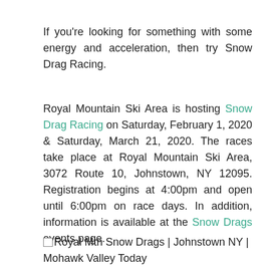If you're looking for something with some energy and acceleration, then try Snow Drag Racing.
Royal Mountain Ski Area is hosting Snow Drag Racing on Saturday, February 1, 2020 & Saturday, March 21, 2020. The races take place at Royal Mountain Ski Area, 3072 Route 10, Johnstown, NY 12095. Registration begins at 4:00pm and open until 6:00pm on race days. In addition, information is available at the Snow Drags events page.
[Figure (photo): Image placeholder with alt text: Royal Mtn Snow Drags | Johnstown NY | Mohawk Valley Today]